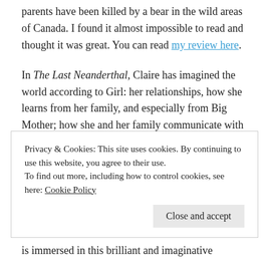parents have been killed by a bear in the wild areas of Canada. I found it almost impossible to read and thought it was great. You can read my review here.
In The Last Neanderthal, Claire has imagined the world according to Girl: her relationships, how she learns from her family, and especially from Big Mother; how she and her family communicate with limited language and other forms of communication; how she and her family make and use tools and every bit they can of the animals they kill. How she can read her environment, through smell, through
Privacy & Cookies: This site uses cookies. By continuing to use this website, you agree to their use.
To find out more, including how to control cookies, see here: Cookie Policy
is immersed in this brilliant and imaginative